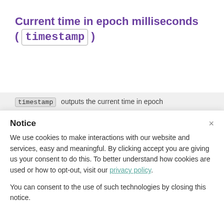Current time in epoch milliseconds ( timestamp )
timestamp outputs the current time in epoch
Notice
We use cookies to make interactions with our website and services, easy and meaningful. By clicking accept you are giving us your consent to do this. To better understand how cookies are used or how to opt-out, visit our privacy policy.
You can consent to the use of such technologies by closing this notice.
Accept
Learn more and customize